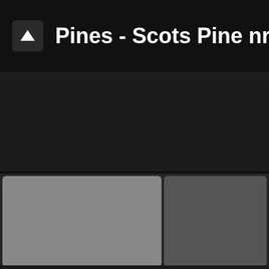Pines - Scots Pine nr. 5
[Figure (screenshot): App interface showing two thumbnail image placeholders (grey rectangles) in a grid below the title bar. Left thumbnail is lighter grey, right is darker grey. Dark background with subtle grid texture.]